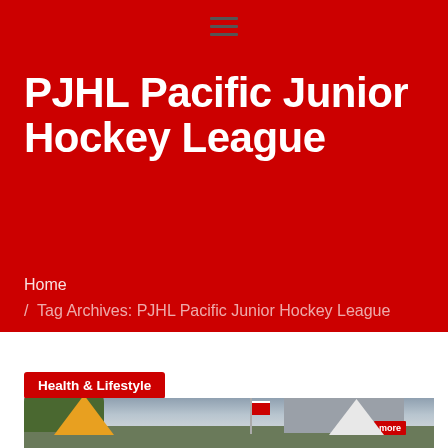Navigation menu (hamburger icon)
PJHL Pacific Junior Hockey League
Home / Tag Archives: PJHL Pacific Junior Hockey League
Health & Lifestyle
[Figure (photo): Outdoor event scene with tents (yellow and white), flagpole with Canadian flag, trees, and a building with a red sign in the background under a cloudy sky.]